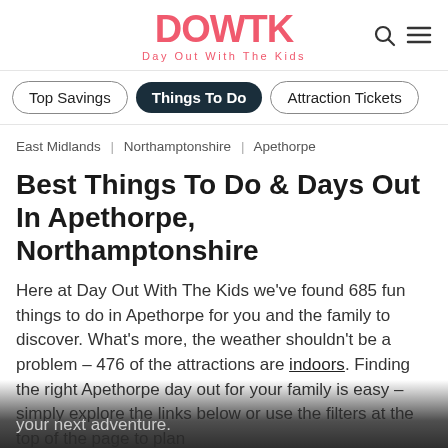[Figure (logo): DOWTK logo with text 'Day Out With The Kids' in coral/pink color]
Top Savings | Things To Do | Attraction Tickets
East Midlands | Northamptonshire | Apethorpe
Best Things To Do & Days Out In Apethorpe, Northamptonshire
Here at Day Out With The Kids we've found 685 fun things to do in Apethorpe for you and the family to discover. What's more, the weather shouldn't be a problem – 476 of the attractions are indoors. Finding the right Apethorpe day out for your family is easy – simply explore the links below or use the filters at the top of the page to plan your next adventure.